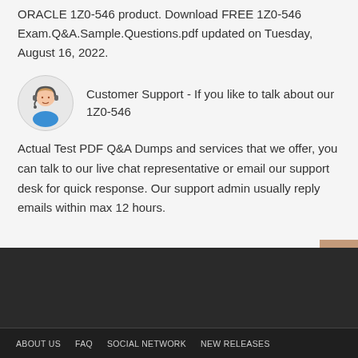ORACLE 1Z0-546 product. Download FREE 1Z0-546 Exam.Q&A.Sample.Questions.pdf updated on Tuesday, August 16, 2022.
[Figure (illustration): Customer support agent avatar icon in a circle — cartoon person wearing a headset with blue shirt]
Customer Support - If you like to talk about our 1Z0-546 Actual Test PDF Q&A Dumps and services that we offer, you can talk to our live chat representative or email our support desk for quick response. Our support admin usually reply emails within max 12 hours.
ABOUT US   FAQ   SOCIAL NETWORK   NEW RELEASES